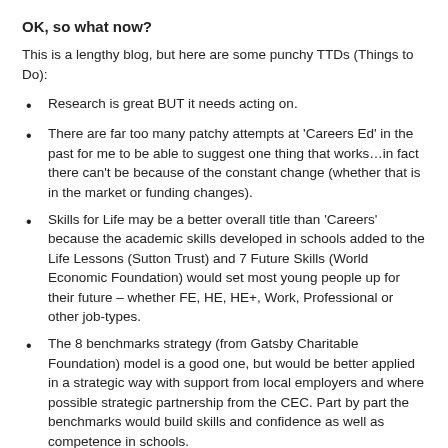OK, so what now?
This is a lengthy blog, but here are some punchy TTDs (Things to Do):
Research is great BUT it needs acting on.
There are far too many patchy attempts at ‘Careers Ed’ in the past for me to be able to suggest one thing that works…in fact there can’t be because of the constant change (whether that is in the market or funding changes).
Skills for Life may be a better overall title than ‘Careers’ because the academic skills developed in schools added to the Life Lessons (Sutton Trust) and 7 Future Skills (World Economic Foundation) would set most young people up for their future – whether FE, HE, HE+, Work, Professional or other job-types.
The 8 benchmarks strategy (from Gatsby Charitable Foundation) model is a good one, but would be better applied in a strategic way with support from local employers and where possible strategic partnership from the CEC. Part by part the benchmarks would build skills and confidence as well as competence in schools.